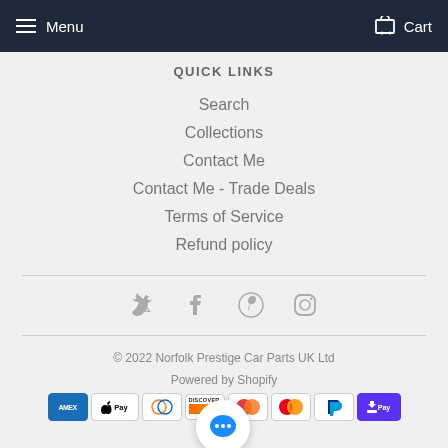Menu | Cart
QUICK LINKS
Search
Collections
Contact Me
Contact Me - Trade Deals
Terms of Service
Refund policy
[Figure (infographic): Social media icons: Twitter, Facebook, Pinterest, Instagram]
© 2022 Norfolk Prestige Car Parts UK Ltd
Powered by Shopify
[Figure (infographic): Payment method icons: Amex, Apple Pay, Diners Club, Discover, Maestro, Mastercard, PayPal, Shopify Pay]